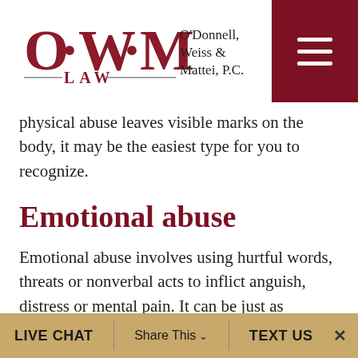O'Donnell, Weiss & Mattei, P.C. — OWM LAW logo and navigation
physical abuse leaves visible marks on the body, it may be the easiest type for you to recognize.
Emotional abuse
Emotional abuse involves using hurtful words, threats or nonverbal acts to inflict anguish, distress or mental pain. It can be just as damaging as physical abuse but more difficult for you to recognize because it leaves no
LIVE CHAT   Share This ∨   TEXT US   ×